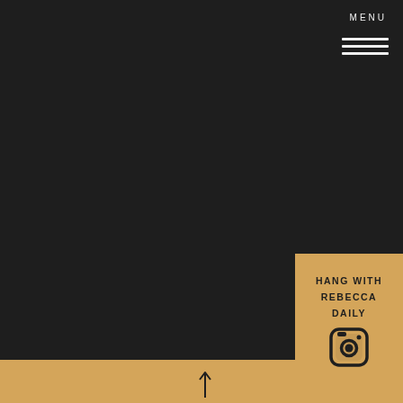MENU
[Figure (illustration): Hamburger menu icon — three horizontal white lines]
HANG WITH REBECCA DAILY
[Figure (logo): Instagram camera icon in dark color on gold background]
[Figure (illustration): Upward-pointing arrow in gold bottom strip]